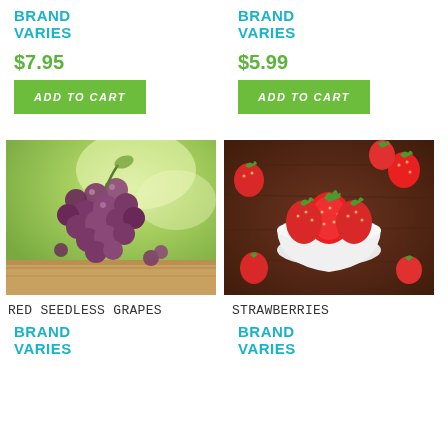BRAND VARIES
$7.95
ADD TO CART
BRAND VARIES
$5.99
ADD TO CART
[Figure (photo): Red seedless grapes on a wooden surface with blurred green leafy background]
RED SEEDLESS GRAPES
BRAND VARIES
[Figure (photo): Fresh strawberries in a white bowl on a dark wooden table]
STRAWBERRIES
BRAND VARIES